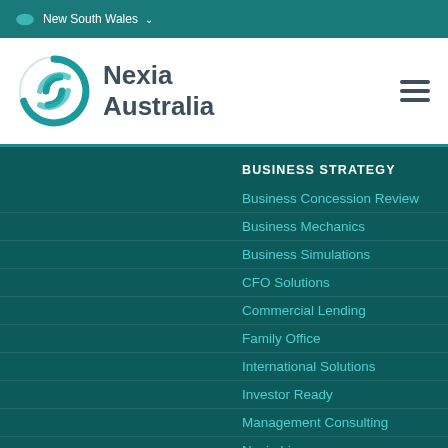New South Wales
[Figure (logo): Nexia Australia logo with teal interlocking N symbol]
BUSINESS STRATEGY
Business Concession Review
Business Mechanics
Business Simulations
CFO Solutions
Commercial Lending
Family Office
International Solutions
Investor Ready
Management Consulting
Nexia Live